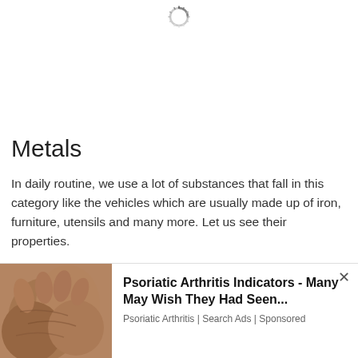[Figure (other): Loading spinner icon at the top center of the page]
Metals
In daily routine, we use a lot of substances that fall in this category like the vehicles which are usually made up of iron, furniture, utensils and many more. Let us see their properties.
Those substances which have a tendency to lose electrons and form positively charged species, that is cation are called metals.
[Figure (photo): Advertisement banner showing clasped hands with psoriatic arthritis, with text 'Psoriatic Arthritis Indicators - Many May Wish They Had Seen...' from Psoriatic Arthritis | Search Ads | Sponsored]